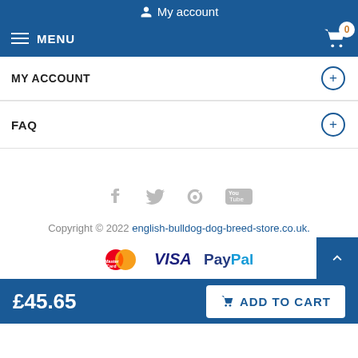My account
MENU
MY ACCOUNT
FAQ
[Figure (other): Social media icons: Facebook, Twitter, Pinterest, YouTube]
Copyright © 2022 english-bulldog-dog-breed-store.co.uk.
[Figure (other): Payment logos: MasterCard, VISA, PayPal]
£45.65  ADD TO CART